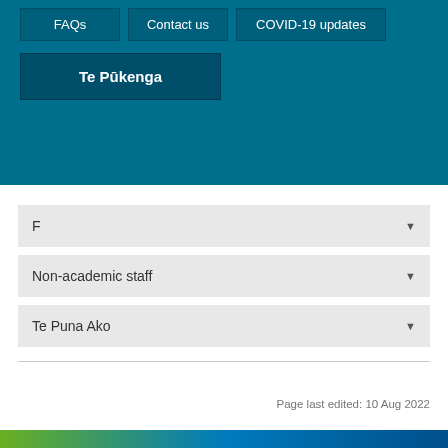FAQs
Contact us
COVID-19 updates
Te Pūkenga
F
Non-academic staff
Te Puna Ako
Page last edited: 10 Aug 2022